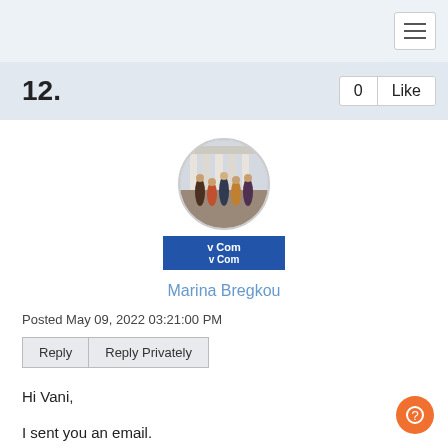Navigation menu header bar
12.
[Figure (photo): Circular profile photo of a group of people in front of a monument, with a blue username badge below showing partial text 'v Comi']
Marina Bregkou
Posted May 09, 2022 03:21:00 PM
Reply   Reply Privately
Hi Vani,
I sent you an email.
Kind regards,